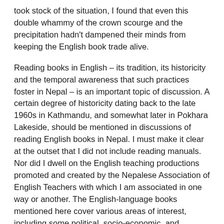took stock of the situation, I found that even this double whammy of the crown scourge and the precipitation hadn't dampened their minds from keeping the English book trade alive.
Reading books in English – its tradition, its historicity and the temporal awareness that such practices foster in Nepal – is an important topic of discussion. A certain degree of historicity dating back to the late 1960s in Kathmandu, and somewhat later in Pokhara Lakeside, should be mentioned in discussions of reading English books in Nepal. I must make it clear at the outset that I did not include reading manuals. Nor did I dwell on the English teaching productions promoted and created by the Nepalese Association of English Teachers with which I am associated in one way or another. The English-language books mentioned here cover various areas of interest, including some political, socio-economic, and historical topics. But they include books on literature, culture, art, and philosophy, mainly Buddhism. A significant number of books on Nepal are written by Western visitors and some Asian visitors. Tourism subsumes the philosophy, a certain Shangri-La imaginary